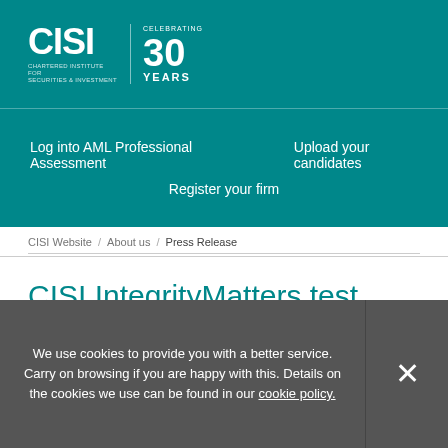[Figure (logo): CISI Chartered Institute for Securities & Investment logo with 'Celebrating 30 Years' text on teal background]
Log into AML Professional Assessment   Upload your candidates   Register your firm
CISI Website / About us / Press Release
CISI IntegrityMatters test passes 50,000 milestone helping to shape financial services' ethical backbone
By Lora Benson | Jun 13, 2017
We use cookies to provide you with a better service. Carry on browsing if you are happy with this. Details on the cookies we use can be found in our cookie policy.